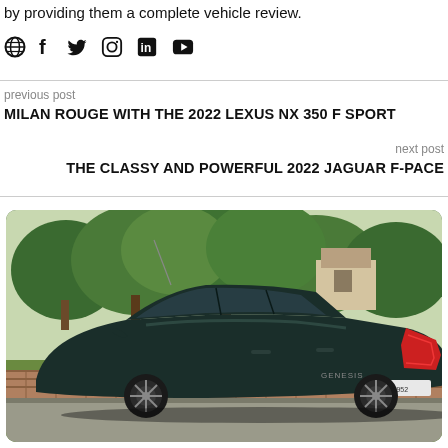by providing them a complete vehicle review.
[Figure (infographic): Social media icons row: globe, Facebook, Twitter, Instagram, LinkedIn, YouTube]
previous post
MILAN ROUGE WITH THE 2022 LEXUS NX 350 F SPORT
next post
THE CLASSY AND POWERFUL 2022 JAGUAR F-PACE
[Figure (photo): Rear three-quarter view of a dark blue/green Genesis G80 sedan parked on a residential street with trees and brick wall in background.]